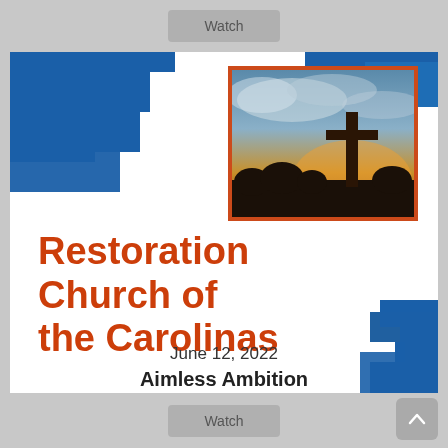[Figure (screenshot): Watch button at top of page]
[Figure (photo): Church card graphic with blue geometric shapes, cross photo, and church name 'Restoration Church of the Carolinas' in orange]
June 12, 2022
Aimless Ambition
Dr. Joe Brown
Matthew 5:8
[Figure (screenshot): Watch button and up-arrow scroll button at bottom of page]